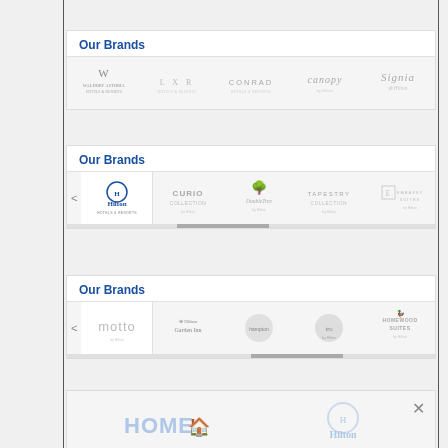[Figure (screenshot): Our Brands carousel row 1 showing Waldorf Astoria, LXR, Conrad, Canopy, Signia by Hilton hotel brand logos]
[Figure (screenshot): Our Brands carousel row 2 showing Hilton Hotels Resorts (active/selected), Curio Collection, DoubleTree, Tapestry Collection, Embassy Suites by Hilton brand logos]
[Figure (screenshot): Our Brands carousel row 3 showing Motto by Hilton (active/selected), Hilton Garden Inn, (partially visible brand), (partially visible brand), Homewood Suites brand logos]
[Figure (screenshot): Bottom partial carousel area showing Home2 Suites and Hilton logos watermarked in light blue/gray, with an X close button]